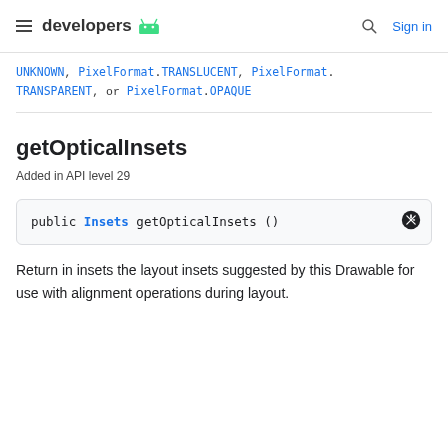developers [android logo] | [search] Sign in
UNKNOWN, PixelFormat.TRANSLUCENT, PixelFormat.TRANSPARENT, or PixelFormat.OPAQUE
getOpticalInsets
Added in API level 29
public Insets getOpticalInsets ()
Return in insets the layout insets suggested by this Drawable for use with alignment operations during layout.